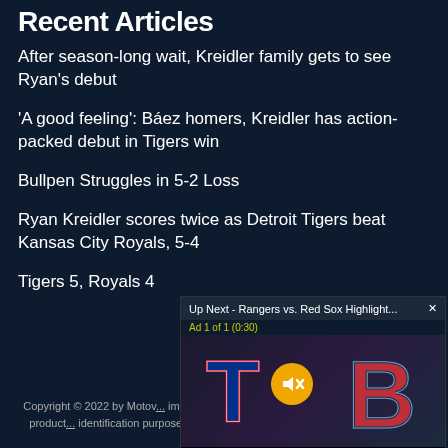Recent Articles
After season-long wait, Kreidler family gets to see Ryan's debut
'A good feeling': Báez homers, Kreidler has action-packed debut in Tigers win
Bullpen Struggles in 5-2 Loss
Ryan Kreidler scores twice as Detroit Tigers beat Kansas City Royals, 5-4
Tigers 5, Royals 4
[Figure (screenshot): Video popup overlay showing 'Up Next - Rangers vs. Red Sox Highlight...' with an ad indicator 'Ad 1 of 1 (0:30)', a mute button, and baseball team logos for Texas Rangers and Boston Red Sox]
Copyright © 2022 by Motov... images, product names, logo... owners. All company, product... identification purposes only. L... imply endorsement unless spe... of U: